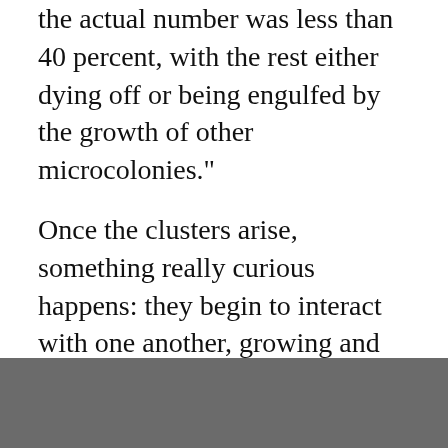the actual number was less than 40 percent, with the rest either dying off or being engulfed by the growth of other microcolonies."
Once the clusters arise, something really curious happens: they begin to interact with one another, growing and organising into densely populated "micron-scale microcolonies that further expand and merge" to form a biofilm superstructure.
This sort of cooperation is interesting, as previous studies have reported bacterial competition in other species, especially when there was a scarcity of nutrients.
In this case, the nutrients only impacted the